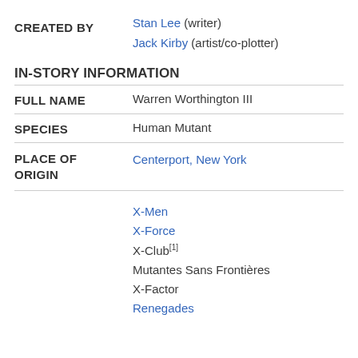| CREATED BY | Stan Lee (writer)
Jack Kirby (artist/co-plotter) |
| IN-STORY INFORMATION |  |
| FULL NAME | Warren Worthington III |
| SPECIES | Human Mutant |
| PLACE OF ORIGIN | Centerport, New York |
|  | X-Men
X-Force
X-Club[1]
Mutantes Sans Frontières
X-Factor
Renegades |